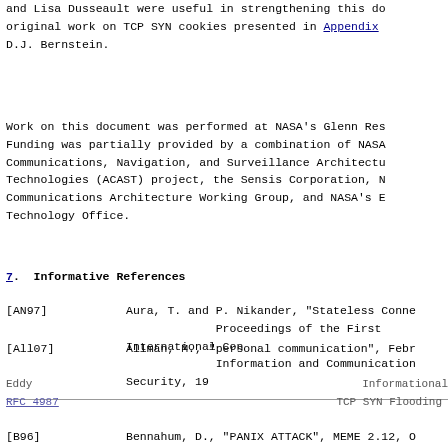and Lisa Dusseault were useful in strengthening this do original work on TCP SYN cookies presented in Appendix D.J. Bernstein.
Work on this document was performed at NASA's Glenn Res Funding was partially provided by a combination of NASA Communications, Navigation, and Surveillance Architectu Technologies (ACAST) project, the Sensis Corporation, N Communications Architecture Working Group, and NASA's E Technology Office.
7.  Informative References
[AN97]   Aura, T. and P. Nikander, "Stateless Conne Proceedings of the First International Con Information and Communication Security, 19
[All07]  Allman, M., "personal communication", Febr
Eddy                        Informational
RFC 4987                    TCP SYN Flooding
[B96]    Bennahum, D., "PANIX ATTACK", MEME 2.12, O